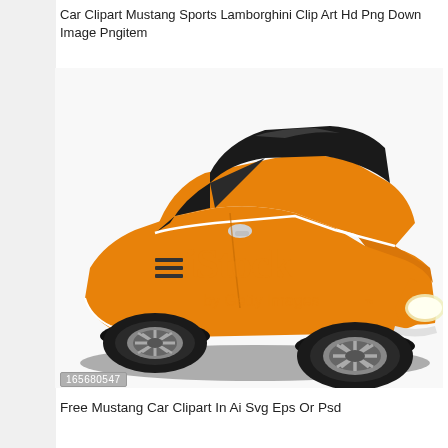Car Clipart Mustang Sports Lamborghini Clip Art Hd Png Down Image Pngitem
[Figure (illustration): Clipart illustration of an orange Ford Mustang sports car shown in a 3/4 front view on a white background, with iStock by Getty Images watermark overlaid.]
165680547
Free Mustang Car Clipart In Ai Svg Eps Or Psd